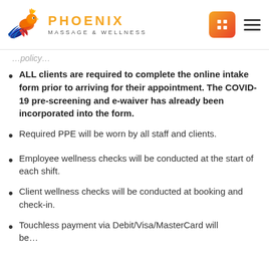Phoenix Massage & Wellness
…policy…
ALL clients are required to complete the online intake form prior to arriving for their appointment. The COVID-19 pre-screening and e-waiver has already been incorporated into the form.
Required PPE will be worn by all staff and clients.
Employee wellness checks will be conducted at the start of each shift.
Client wellness checks will be conducted at booking and check-in.
Touchless payment via Debit/Visa/MasterCard will be…